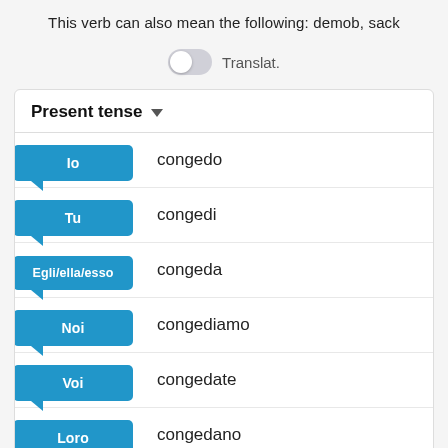This verb can also mean the following: demob, sack
Translat.
Present tense
Io — congedo
Tu — congedi
Egli/ella/esso — congeda
Noi — congediamo
Voi — congedate
Loro — congedano